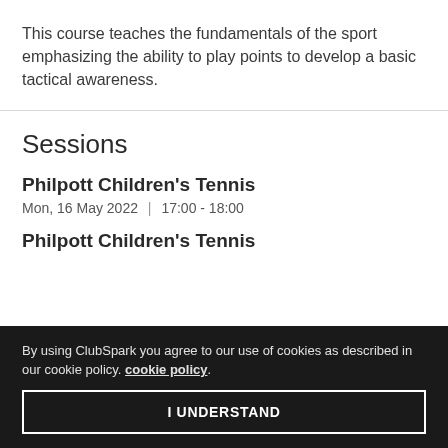This course teaches the fundamentals of the sport emphasizing the ability to play points to develop a basic tactical awareness.
Sessions
Philpott Children's Tennis
Mon, 16 May 2022 | 17:00 - 18:00
Philpott Children's Tennis
By using ClubSpark you agree to our use of cookies as described in our cookie policy. cookie policy.
I UNDERSTAND